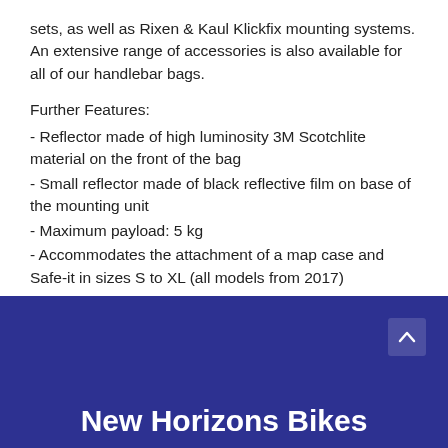sets, as well as Rixen & Kaul Klickfix mounting systems. An extensive range of accessories is also available for all of our handlebar bags.
Further Features:
- Reflector made of high luminosity 3M Scotchlite material on the front of the bag
- Small reflector made of black reflective film on base of the mounting unit
- Maximum payload: 5 kg
- Accommodates the attachment of a map case and Safe-it in sizes S to XL (all models from 2017)
- Zippered inside pocket with carabiner for keychains
New Horizons Bikes